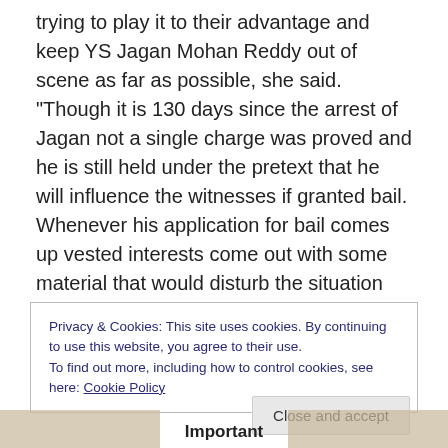trying to play it to their advantage and keep YS Jagan Mohan Reddy out of scene as far as possible, she said. "Though it is 130 days since the arrest of Jagan not a single charge was proved and he is still held under the pretext that he will influence the witnesses if granted bail. Whenever his application for bail comes up vested interests come out with some material that would disturb the situation and this has been the pattern. This time around, we have belief in God and the judiciary and pray that Jagan will get bail and things will fall in place," she said.
Privacy & Cookies: This site uses cookies. By continuing to use this website, you agree to their use. To find out more, including how to control cookies, see here: Cookie Policy
Close and accept
Important